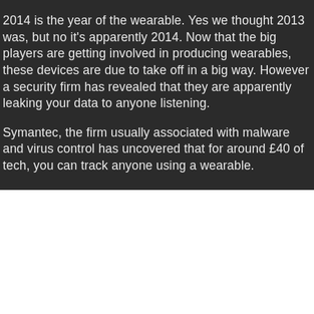2014 is the year of the wearable. Yes we thought 2013 was, but no it's apparently 2014. Now that the big players are getting involved in producing wearables, these devices are due to take off in a big way. However a security firm has revealed that they are apparently leaking your data to anyone listening.
Symantec, the firm usually associated with malware and virus control has uncovered that for around £40 of tech, you can track anyone using a wearable.